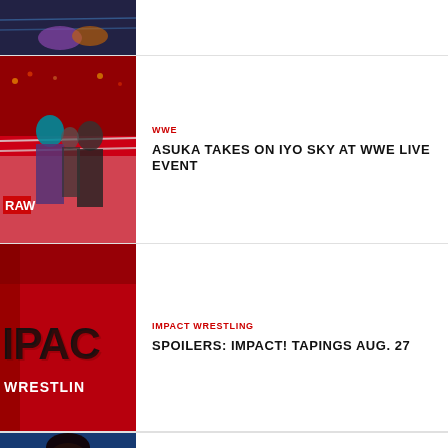[Figure (photo): Partial wrestling match photo at top of page, cropped]
[Figure (photo): Asuka vs Iyo Sky WWE match, women wrestling in ring with referee]
WWE
ASUKA TAKES ON IYO SKY AT WWE LIVE EVENT
[Figure (photo): Impact Wrestling logo on red background]
IMPACT WRESTLING
SPOILERS: IMPACT! TAPINGS AUG. 27
[Figure (photo): Partial photo of a wrestler, cropped at bottom of page]